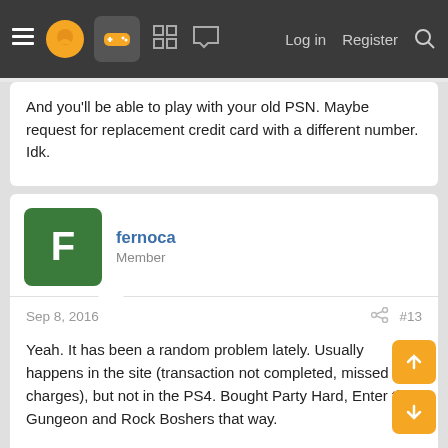Navigation bar with menu, logo, gamepad icon, grid icon, chat icon, Log in, Register, Search
And you'll be able to play with your old PSN. Maybe request for replacement credit card with a different number. Idk.
fernoca
Member
Sep 8, 2016  #13
Yeah. It has been a random problem lately. Usually happens in the site (transaction not completed, missed charges), but not in the PS4. Bought Party Hard, Enter the Gungeon and Rock Boshers that way.
DjRalford
Member